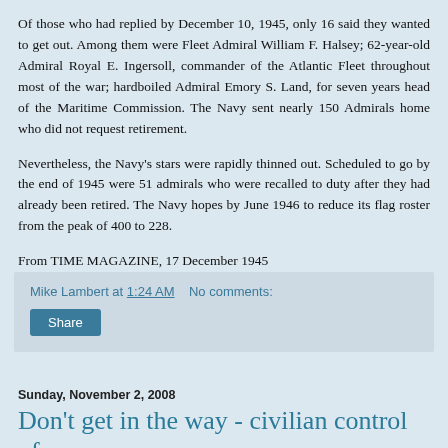Of those who had replied by December 10, 1945, only 16 said they wanted to get out. Among them were Fleet Admiral William F. Halsey; 62-year-old Admiral Royal E. Ingersoll, commander of the Atlantic Fleet throughout most of the war; hardboiled Admiral Emory S. Land, for seven years head of the Maritime Commission. The Navy sent nearly 150 Admirals home who did not request retirement.
Nevertheless, the Navy's stars were rapidly thinned out. Scheduled to go by the end of 1945 were 51 admirals who were recalled to duty after they had already been retired. The Navy hopes by June 1946 to reduce its flag roster from the peak of 400 to 228.
From TIME MAGAZINE, 17 December 1945
Mike Lambert at 1:24 AM   No comments:
Share
Sunday, November 2, 2008
Don't get in the way - civilian control of